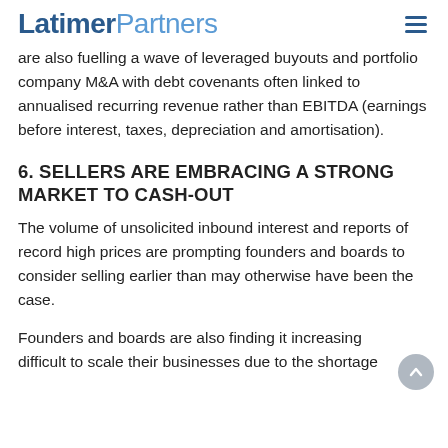LatimerPartners
are also fuelling a wave of leveraged buyouts and portfolio company M&A with debt covenants often linked to annualised recurring revenue rather than EBITDA (earnings before interest, taxes, depreciation and amortisation).
6. SELLERS ARE EMBRACING A STRONG MARKET TO CASH-OUT
The volume of unsolicited inbound interest and reports of record high prices are prompting founders and boards to consider selling earlier than may otherwise have been the case.
Founders and boards are also finding it increasing difficult to scale their businesses due to the shortage